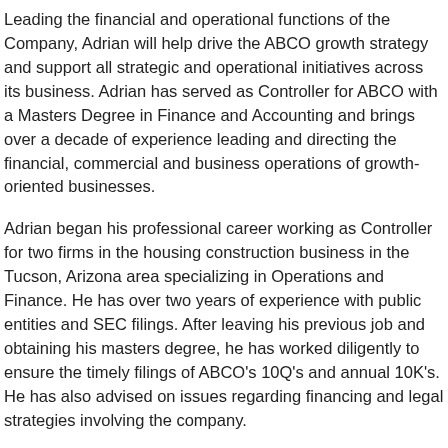Leading the financial and operational functions of the Company, Adrian will help drive the ABCO growth strategy and support all strategic and operational initiatives across its business. Adrian has served as Controller for ABCO with a Masters Degree in Finance and Accounting and brings over a decade of experience leading and directing the financial, commercial and business operations of growth-oriented businesses.
Adrian began his professional career working as Controller for two firms in the housing construction business in the Tucson, Arizona area specializing in Operations and Finance. He has over two years of experience with public entities and SEC filings. After leaving his previous job and obtaining his masters degree, he has worked diligently to ensure the timely filings of ABCO's 10Q's and annual 10K's. He has also advised on issues regarding financing and legal strategies involving the company.